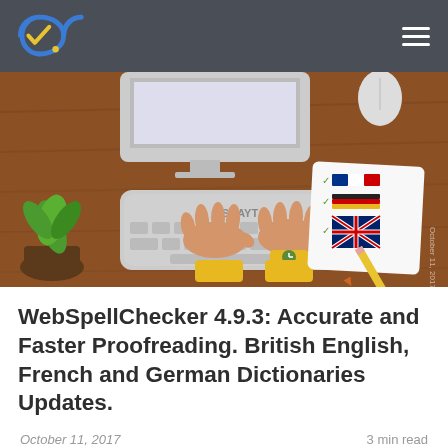WebSpellChecker blog navigation bar with logo and hamburger menu
[Figure (illustration): Top-down illustration of hands typing on a keyboard on a wooden desk, with a monitor, green plant, and a checklist card showing French, German, and British flags. A yellow pencil rests nearby. Text 'SCAYT' on keyboard. 'October 11, 2017' watermark on right side.]
WebSpellChecker 4.9.3: Accurate and Faster Proofreading. British English, French and German Dictionaries Updates.
October 11, 2017
3 min read